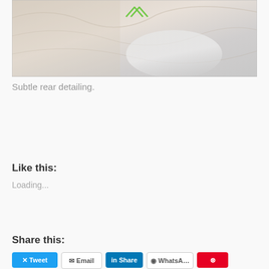[Figure (photo): Close-up photo of white/beige fabric showing subtle rear detailing. A small green geometric logo (two overlapping triangles/chevrons) is visible at the top center of the image.]
Subtle rear detailing.
Like this:
Loading...
Share this:
Tweet  Email  Share  WhatsApp  Save